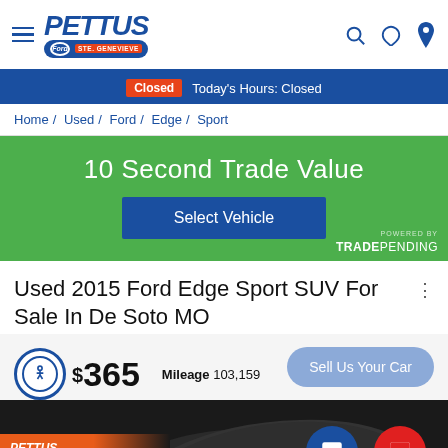Pettus Ford Ste. Genevieve
Closed  Today's Hours: Closed
Home / Used / Ford / Edge / Sport
[Figure (infographic): 10 Second Trade Value banner with 'Select Vehicle' button and TradePending logo]
Used 2015 Ford Edge Sport SUV For Sale In De Soto MO
$365  Mileage 103,159
[Figure (photo): Dark car image with Pettus Automotive overlay]
Alerts  Save  Compare 0